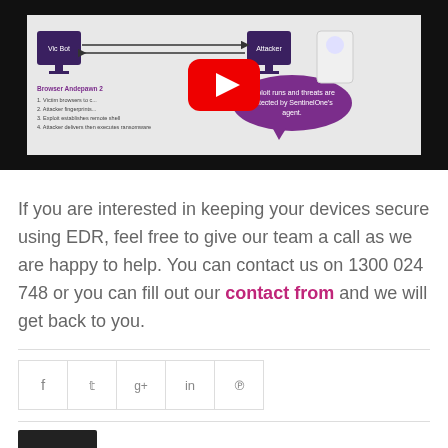[Figure (screenshot): YouTube video thumbnail showing a browser adversary diagram with SentinelOne detection callout and YouTube play button overlay]
If you are interested in keeping your devices secure using EDR, feel free to give our team a call as we are happy to help. You can contact us on 1300 024 748 or you can fill out our contact from and we will get back to you.
[Figure (other): Social sharing bar with icons for Facebook, Twitter, Google+, LinkedIn, and Pinterest]